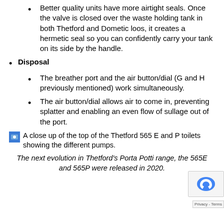Better quality units have more airtight seals. Once the valve is closed over the waste holding tank in both Thetford and Dometic loos, it creates a hermetic seal so you can confidently carry your tank on its side by the handle.
Disposal
The breather port and the air button/dial (G and H previously mentioned) work simultaneously.
The air button/dial allows air to come in, preventing splatter and enabling an even flow of sullage out of the port.
[Figure (photo): A close up of the top of the Thetford 565 E and P toilets showing the different pumps.]
The next evolution in Thetford's Porta Potti range, the 565E and 565P were released in 2020.